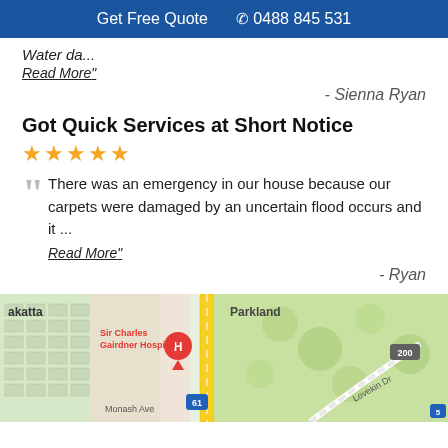Get Free Quote  📞 0488 845 531
Water da...
Read More"
- Sienna Ryan
Got Quick Services at Short Notice
★★★★★
There was an emergency in our house because our carpets were damaged by an uncertain flood occurs and it ...
Read More"
- Ryan
[Figure (map): Google Maps showing Sir Charles Gairdner Hospital area with Parkland, akatta suburb, Monash Ave, Lovekin Dr, route 61 and 200 road signs visible]